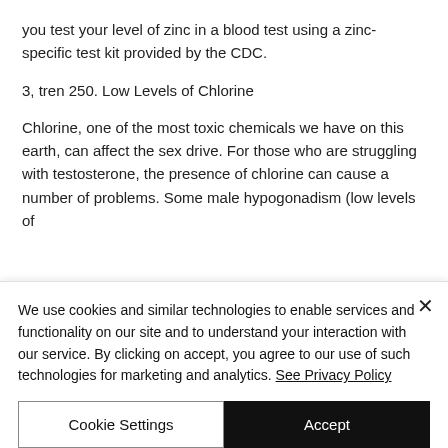you test your level of zinc in a blood test using a zinc-specific test kit provided by the CDC.
3, tren 250. Low Levels of Chlorine
Chlorine, one of the most toxic chemicals we have on this earth, can affect the sex drive. For those who are struggling with testosterone, the presence of chlorine can cause a number of problems. Some male hypogonadism (low levels of
We use cookies and similar technologies to enable services and functionality on our site and to understand your interaction with our service. By clicking on accept, you agree to our use of such technologies for marketing and analytics. See Privacy Policy